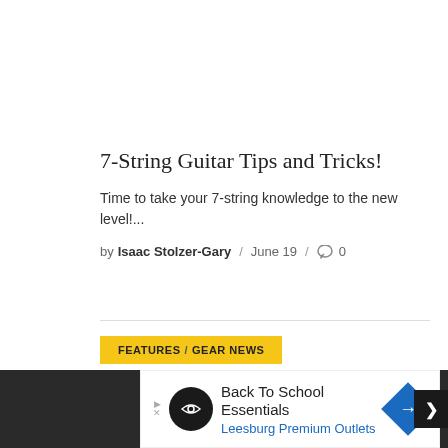7-String Guitar Tips and Tricks!
Time to take your 7-string knowledge to the new level!...
by Isaac Stolzer-Gary / June 19 / 0
FEATURES / GEAR NEWS
[Figure (infographic): Advertisement banner: Back To School Essentials - Leesburg Premium Outlets with logo and navigation arrow]